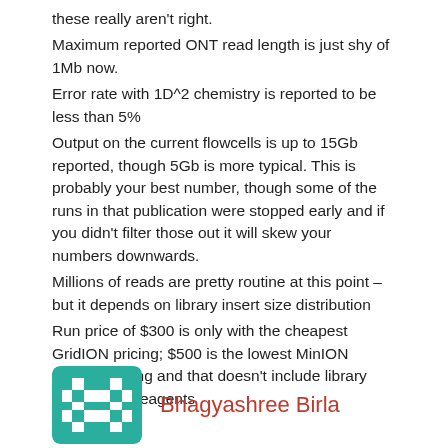these really aren't right.
Maximum reported ONT read length is just shy of 1Mb now.
Error rate with 1D^2 chemistry is reported to be less than 5%
Output on the current flowcells is up to 15Gb reported, though 5Gb is more typical. This is probably your best number, though some of the runs in that publication were stopped early and if you didn't filter those out it will skew your numbers downwards.
Millions of reads are pretty routine at this point – but it depends on library insert size distribution
Run price of $300 is only with the cheapest GridION pricing; $500 is the lowest MinION flowcell pricing and that doesn't include library preparation reagents
Like
Reply
Bhagyashree Birla